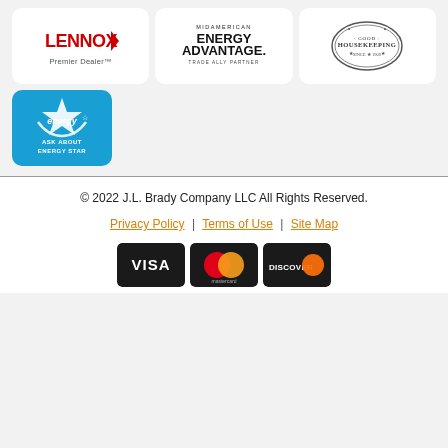[Figure (logo): Lennox Premier Dealer logo — red Lennox wordmark with arrow shape, 'Premier Dealer' text below]
[Figure (logo): MidAmerican Energy Advantage logo — bold black 'ENERGY ADVANTAGE' text with 'MIDAMERICAN' above and 'TRADE ALLY PARTNER' below]
[Figure (logo): Good Housekeeping seal — oval badge with 'GOOD HOUSEKEEPING' text]
[Figure (logo): Energy Star logo — blue background with white Energy Star logo, 'ASK ABOUT ENERGY STAR' text below]
© 2022 J.L. Brady Company LLC All Rights Reserved.
Privacy Policy | Terms of Use | Site Map
[Figure (other): Payment method icons: VISA, Mastercard, Discover]